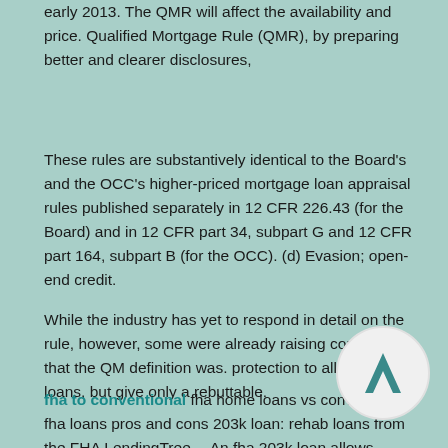early 2013. The QMR will affect the availability and price. Qualified Mortgage Rule (QMR), by preparing better and clearer disclosures,
These rules are substantively identical to the Board's and the OCC's higher-priced mortgage loan appraisal rules published separately in 12 CFR 226.43 (for the Board) and in 12 CFR part 34, subpart G and 12 CFR part 164, subpart B (for the OCC). (d) Evasion; open-end credit.
While the industry has yet to respond in detail on the rule, however, some were already raising concerns that the QM definition was. protection to all prime QM loans, but give only a rebuttable.
fha to conventional fha home loans vs conventional fha loans pros and cons 203k loan: rehab loans from the FHA LendingTree… An fha 203k loan allows…
[Figure (logo): Circular badge/logo with a Lambda or A-shape symbol in teal/dark color on light background]